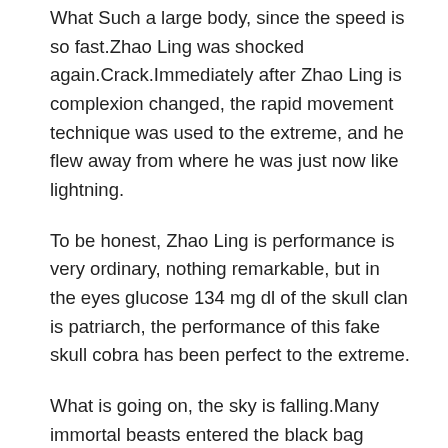What Such a large body, since the speed is so fast.Zhao Ling was shocked again.Crack.Immediately after Zhao Ling is complexion changed, the rapid movement technique was used to the extreme, and he flew away from where he was just now like lightning.
To be honest, Zhao Ling is performance is very ordinary, nothing remarkable, but in the eyes glucose 134 mg dl of the skull clan is patriarch, the performance of this fake skull cobra has been perfect to the extreme.
What is going on, the sky is falling.Many immortal beasts entered the black bag without realizing what was going on.In Zhao Ling is impression, as long as he enters the bag, he must die.The unicorn joined the battle group.After observing for a long time, he found that Zhao Ling Cazin.BA can stress cause high blood sugar in non diabetics was the most powerful,